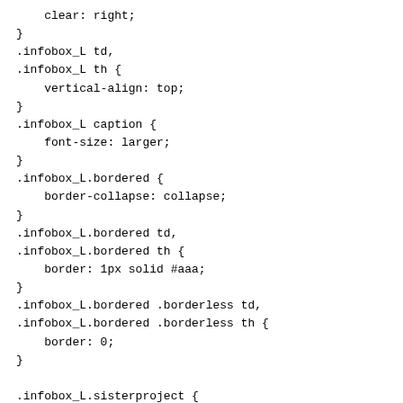clear: right;
}
.infobox_L td,
.infobox_L th {
    vertical-align: top;
}
.infobox_L caption {
    font-size: larger;
}
.infobox_L.bordered {
    border-collapse: collapse;
}
.infobox_L.bordered td,
.infobox_L.bordered th {
    border: 1px solid #aaa;
}
.infobox_L.bordered .borderless td,
.infobox_L.bordered .borderless th {
    border: 0;
}

.infobox_L.sisterproject {
    width: 20em;
    font-size: 90%;
}

.infobox_L.standard-talk {
    border: 1px solid #c0c090;
    background-color: #f8eaba;
}
.infobox_L.standard-talk.bordered td,
.infobox_L.standard-talk.bordered th {